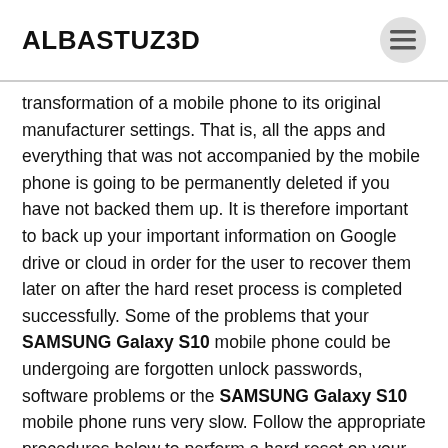ALBASTUZ3D
transformation of a mobile phone to its original manufacturer settings. That is, all the apps and everything that was not accompanied by the mobile phone is going to be permanently deleted if you have not backed them up. It is therefore important to back up your important information on Google drive or cloud in order for the user to recover them later on after the hard reset process is completed successfully. Some of the problems that your SAMSUNG Galaxy S10 mobile phone could be undergoing are forgotten unlock passwords, software problems or the SAMSUNG Galaxy S10 mobile phone runs very slow. Follow the appropriate procedures below to perform a hard reset on your Samsung mobile